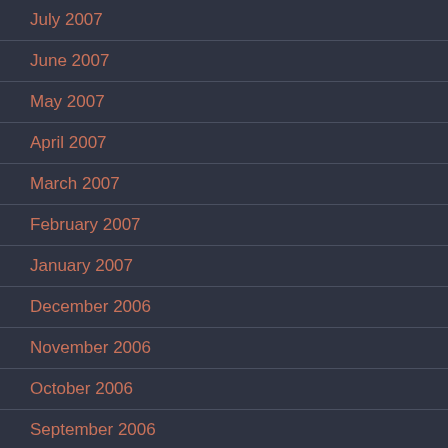July 2007
June 2007
May 2007
April 2007
March 2007
February 2007
January 2007
December 2006
November 2006
October 2006
September 2006
August 2006